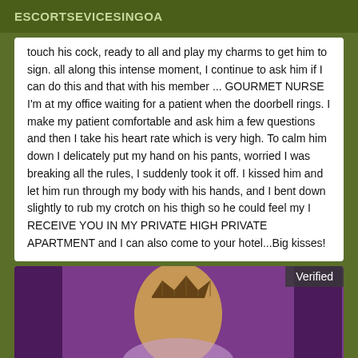ESCORTSEVICESINGOA
touch his cock, ready to all and play my charms to get him to sign. all along this intense moment, I continue to ask him if I can do this and that with his member ... GOURMET NURSE I'm at my office waiting for a patient when the doorbell rings. I make my patient comfortable and ask him a few questions and then I take his heart rate which is very high. To calm him down I delicately put my hand on his pants, worried I was breaking all the rules, I suddenly took it off. I kissed him and let him run through my body with his hands, and I bent down slightly to rub my crotch on his thigh so he could feel my I RECEIVE YOU IN MY PRIVATE HIGH PRIVATE APARTMENT and I can also come to your hotel...Big kisses!
[Figure (photo): Photo of a woman with a crown/tiara on her head against a purple background, with a 'Verified' badge in the top right corner.]